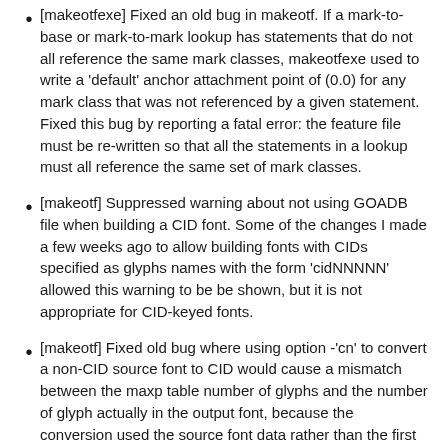[makeotfexe] Fixed an old bug in makeotf. If a mark-to-base or mark-to-mark lookup has statements that do not all reference the same mark classes, makeotfexe used to write a 'default' anchor attachment point of (0.0) for any mark class that was not referenced by a given statement. Fixed this bug by reporting a fatal error: the feature file must be re-written so that all the statements in a lookup must all reference the same set of mark classes.
[makeotf] Suppressed warning about not using GOADB file when building a CID font. Some of the changes I made a few weeks ago to allow building fonts with CIDs specified as glyphs names with the form 'cidNNNNN' allowed this warning to be be shown, but it is not appropriate for CID-keyed fonts.
[makeotf] Fixed old bug where using option -'cn' to convert a non-CID source font to CID would cause a mismatch between the maxp table number of glyphs and the number of glyph actually in the output font, because the conversion used the source font data rather than the first pass name-